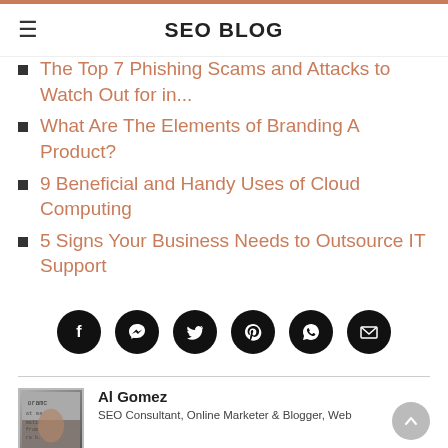SEO BLOG
The Top 7 Phishing Scams and Attacks to Watch Out for in...
What Are The Elements of Branding A Product?
9 Beneficial and Handy Uses of Cloud Computing
5 Signs Your Business Needs to Outsource IT Support
[Figure (infographic): Social share icons row: Facebook, Messenger, Twitter, Pinterest, WhatsApp, Email — all circular black buttons]
Al Gomez
SEO Consultant, Online Marketer & Blogger, Web